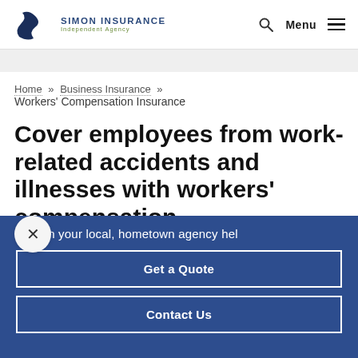SIMON INSURANCE Independent Agency
Home » Business Insurance » Workers' Compensation Insurance
Cover employees from work-related accidents and illnesses with workers' compensation
ow can your local, hometown agency hel
Get a Quote
Contact Us